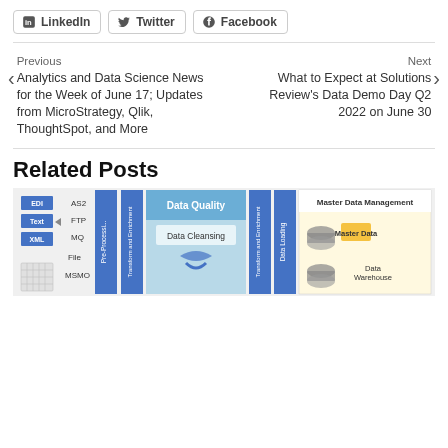LinkedIn  Twitter  Facebook
Previous
Analytics and Data Science News for the Week of June 17; Updates from MicroStrategy, Qlik, ThoughtSpot, and More
Next
What to Expect at Solutions Review's Data Demo Day Q2 2022 on June 30
Related Posts
[Figure (infographic): Partial view of a data integration/ETL diagram showing components: EDI, Text, XML file sources; AS2, FTP, MQ, File, MSMO connectors; Pre-Processing and Transform and Enrichment stages; Data Quality with Data Cleansing; another Transform and Enrichment stage; Data Loading; Master Data Management with Master Data; and Data Warehouse.]